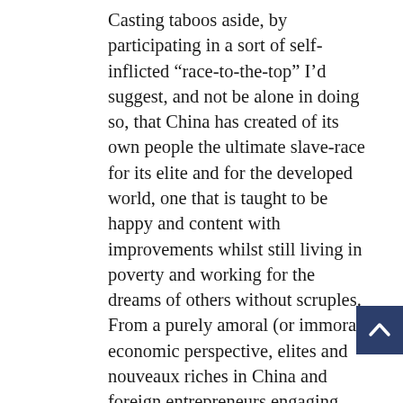Casting taboos aside, by participating in a sort of self-inflicted “race-to-the-top” I’d suggest, and not be alone in doing so, that China has created of its own people the ultimate slave-race for its elite and for the developed world, one that is taught to be happy and content with improvements whilst still living in poverty and working for the dreams of others without scruples. From a purely amoral (or immoral) economic perspective, elites and nouveaux riches in China and foreign entrepreneurs engaging with China have no cause to make changes to the 21st century slavery we can take advantage of in China. Thankfully, we have sustainable entrepreneurs setting up businesses whereby ethics in economics takes precedence, but then if these entrepreneurs are interested themselves in surviving rather than thriving in terms of their economic self-interest, what hope do they have of making serious changes at a wider level? Some do, and with passion, but...